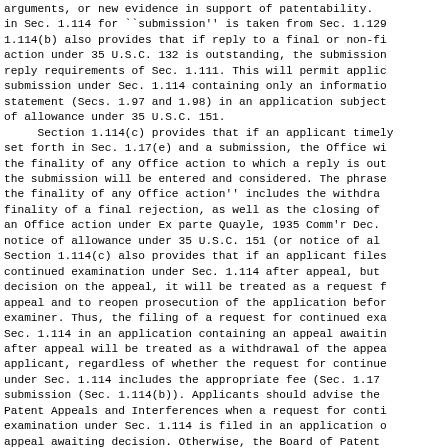arguments, or new evidence in support of patentability. in Sec. 1.114 for ``submission'' is taken from Sec. 1.129 1.114(b) also provides that if reply to a final or non-fi action under 35 U.S.C. 132 is outstanding, the submission reply requirements of Sec. 1.111. This will permit applic submission under Sec. 1.114 containing only an informatio statement (Secs. 1.97 and 1.98) in an application subject of allowance under 35 U.S.C. 151.
	Section 1.114(c) provides that if an applicant timely set forth in Sec. 1.17(e) and a submission, the Office wi the finality of any Office action to which a reply is out the submission will be entered and considered. The phrase the finality of any Office action'' includes the withdra finality of a final rejection, as well as the closing of an Office action under Ex parte Quayle, 1935 Comm'r Dec. notice of allowance under 35 U.S.C. 151 (or notice of al Section 1.114(c) also provides that if an applicant files continued examination under Sec. 1.114 after appeal, but decision on the appeal, it will be treated as a request f appeal and to reopen prosecution of the application befor examiner. Thus, the filing of a request for continued exa Sec. 1.114 in an application containing an appeal awaitin after appeal will be treated as a withdrawal of the appea applicant, regardless of whether the request for continue under Sec. 1.114 includes the appropriate fee (Sec. 1.17 submission (Sec. 1.114(b)). Applicants should advise the Patent Appeals and Interferences when a request for conti examination under Sec. 1.114 is filed in an application o appeal awaiting decision. Otherwise, the Board of Patent Interferences may refuse to vacate a decision rendered at